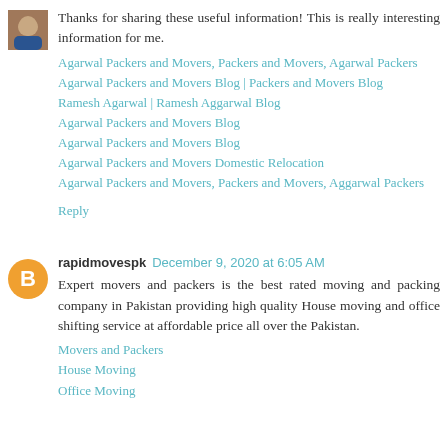[Figure (photo): Small avatar photo of a person in a blue/dark shirt]
Thanks for sharing these useful information! This is really interesting information for me.
Agarwal Packers and Movers, Packers and Movers, Agarwal Packers
Agarwal Packers and Movers Blog | Packers and Movers Blog
Ramesh Agarwal | Ramesh Aggarwal Blog
Agarwal Packers and Movers Blog
Agarwal Packers and Movers Blog
Agarwal Packers and Movers Domestic Relocation
Agarwal Packers and Movers, Packers and Movers, Aggarwal Packers
Reply
[Figure (logo): Orange circle with white letter B (Blogger icon)]
rapidmovespk  December 9, 2020 at 6:05 AM
Expert movers and packers is the best rated moving and packing company in Pakistan providing high quality House moving and office shifting service at affordable price all over the Pakistan.
Movers and Packers
House Moving
Office Moving